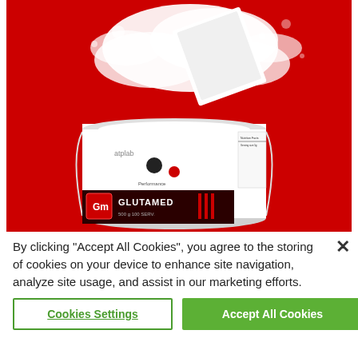[Figure (photo): Product photo of ATP Lab Glutamed supplement powder tub on red background, with white powder exploding from the open lid. The white cylindrical container shows the brand logo 'atplab', a dark red and black label reading 'GLUTAMED', element symbol 'Gm', and '500g / 100 servings'.]
By clicking "Accept All Cookies", you agree to the storing of cookies on your device to enhance site navigation, analyze site usage, and assist in our marketing efforts.
Cookies Settings
Accept All Cookies